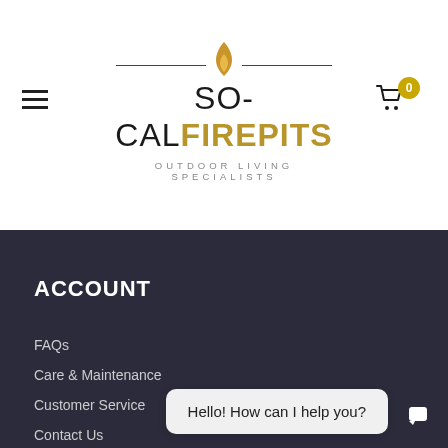[Figure (logo): So-Cal Fire Pits logo with flame icon and tagline OUTDOOR LIVING SPECIALISTS]
ACCOUNT
FAQs
Care & Maintenance
Customer Service
Contact Us
Terms of Service
Hello! How can I help you?